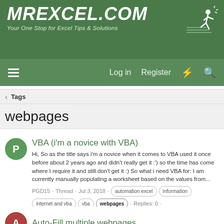[Figure (logo): MrExcel.com logo with tagline 'Your One Stop for Excel Tips & Solutions' on green background with running figure icon]
Log in  Register
< Tags
webpages
VBA (i'm a novice with VBA)
Hi, So as the title says i'm a novice when it comes to VBA used it once before about 2 years ago and didn't really get it :') so the time has come where I require it and still don't get it :) So what i need VBA for: I am currently manually populating a worksheet based on the values from...
PGD15 · Thread · Jul 3, 2018 · automation excel information internet and vba vba webpages · Replies: 0 · Forum: Excel Questions
Auto-Fill multiple webpages